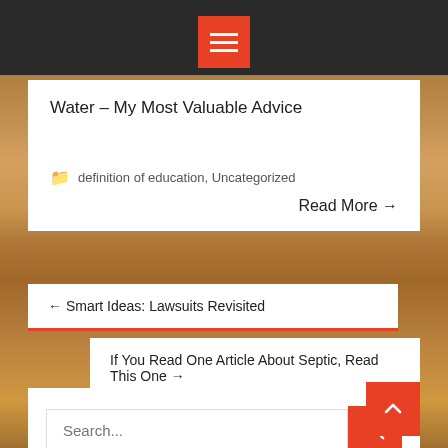[Figure (screenshot): Dark navigation bar with red hamburger menu button centered at top]
Water – My Most Valuable Advice
definition of education, Uncategorized
Read More →
← Smart Ideas: Lawsuits Revisited
If You Read One Article About Septic, Read This One →
Search...